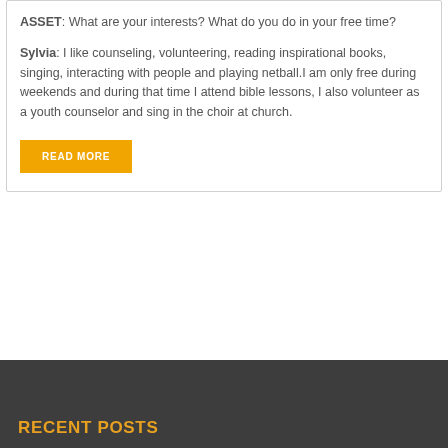ASSET: What are your interests? What do you do in your free time?
Sylvia: I like counseling, volunteering, reading inspirational books, singing, interacting with people and playing netball.I am only free during weekends and during that time I attend bible lessons, I also volunteer as a youth counselor and sing in the choir at church.
READ MORE
RECENT POSTS